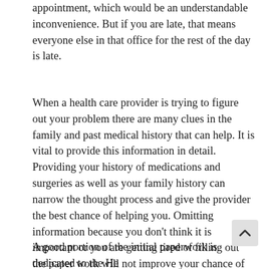appointment, which would be an understandable inconvenience. But if you are late, that means everyone else in that office for the rest of the day is late.
When a health care provider is trying to figure out your problem there are many clues in the family and past medical history that can help. It is vital to provide this information in detail. Providing your history of medications and surgeries as well as your family history can narrow the thought process and give the provider the best chance of helping you. Omitting information because you don't think it is important or you are getting tired of filling out the paper work will not improve your chance of getting the answers you are seeking. Give yourself enough time to fill out the paperwork completely. In todays electronic age you can get your paperwork packet from an office website, have it emailed, mailed by postal service or even stop in and pick it up ahead of time. Filling it out at home gives you the best opportunity to fill it out completely and correctly.
A good portion of the initial paperwork is dedicated to the Health Insurance Portability and Accountability Act of 1996 or HIPAA. This is a government mandated regulation and was put in place for